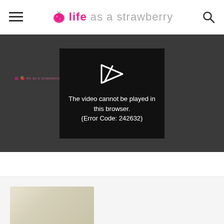life as a strawberry
[Figure (screenshot): Video player showing error message: The video cannot be played in this browser. (Error Code: 242632)]
[Figure (photo): Partial food photo visible at bottom of page]